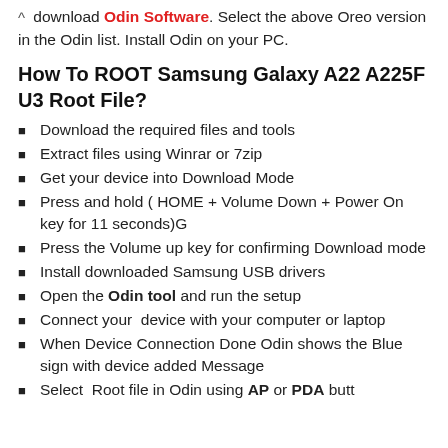download Odin Software. Select the above Oreo version in the Odin list. Install Odin on your PC.
How To ROOT Samsung Galaxy A22 A225F U3 Root File?
Download the required files and tools
Extract files using Winrar or 7zip
Get your device into Download Mode
Press and hold ( HOME + Volume Down + Power On key for 11 seconds)G
Press the Volume up key for confirming Download mode
Install downloaded Samsung USB drivers
Open the Odin tool and run the setup
Connect your device with your computer or laptop
When Device Connection Done Odin shows the Blue sign with device added Message
Select Root file in Odin using AP or PDA butt